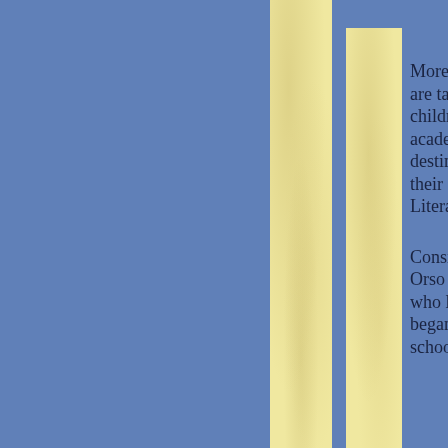More families are taking their children's academic destiny into their own hands. Literally.
Consider the Orso family, who last month began home schooling